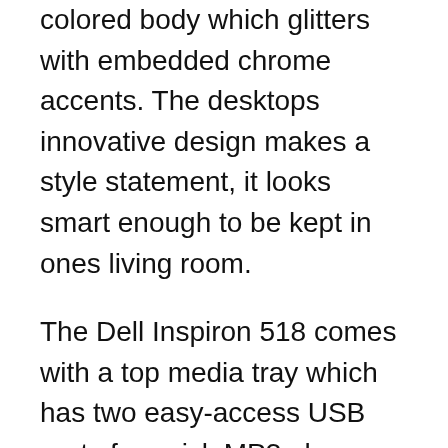colored body which glitters with embedded chrome accents. The desktops innovative design makes a style statement, it looks smart enough to be kept in ones living room.
The Dell Inspiron 518 comes with a top media tray which has two easy-access USB ports for quick MP3 player syncing and cell-phone charging. The family targeted desktop packs in a Gigabit Ethernet, DX10 integrated graphics for casual gaming. You also have a choice to go in for an optional 500GB hard drive